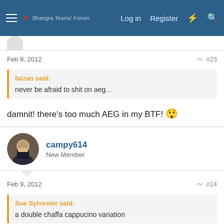Bhangra Teams' Forum — Log in | Register
Feb 9, 2012  #23
faizan said:
never be afraid to shit on aeg...
damnit! there's too much AEG in my BTF! 😱
campy614
New Member
Feb 9, 2012  #24
Sue Sylvester said:
a double chaffa cappucino variation
I'll have a double, and sweetened.